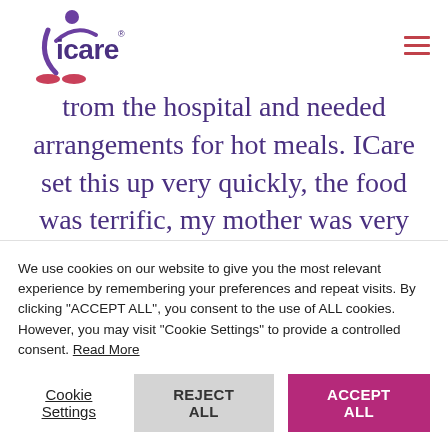[Figure (logo): icare logo with purple figure and text, red/pink accent marks below]
trom the hospital and needed arrangements for hot meals. ICare set this up very quickly, the food was terrific, my mother was very happy with the selection
We use cookies on our website to give you the most relevant experience by remembering your preferences and repeat visits. By clicking "ACCEPT ALL", you consent to the use of ALL cookies. However, you may visit "Cookie Settings" to provide a controlled consent. Read More
Cookie Settings  REJECT ALL  ACCEPT ALL